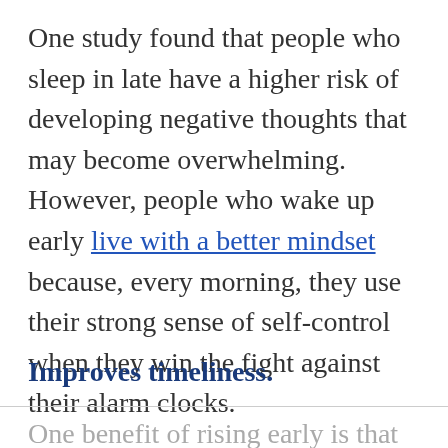One study found that people who sleep in late have a higher risk of developing negative thoughts that may become overwhelming. However, people who wake up early live with a better mindset because, every morning, they use their strong sense of self-control when they win the fight against their alarm clocks.
Improves timeliness.
One benefit of rising early is that you will